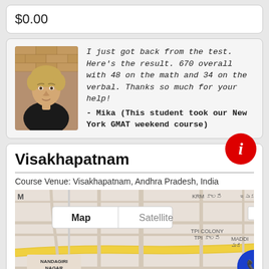$0.00
I just got back from the test. Here's the result. 670 overall with 48 on the math and 34 on the verbal. Thanks so much for your help! - Mika (This student took our New York GMAT weekend course)
[Figure (photo): Headshot photo of a young man with light brown hair wearing a black shirt, in front of a brick wall background]
Visakhapatnam
Course Venue: Visakhapatnam, Andhra Pradesh, India
[Figure (map): Google Maps view showing Visakhapatnam area with Map/Satellite toggle, showing neighborhoods including Nandagiri Nagar, TPI Colony, Maddil, with a red location pin and road network. Labels include KRM కాలని, ఇసుకతోటి, TPI కాలని, నందగిరి నగర్. Subbayya Gari Hotel visible at bottom.]